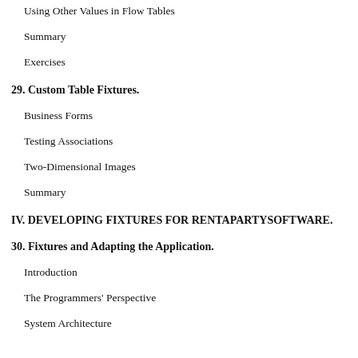Using Other Values in Flow Tables
Summary
Exercises
29. Custom Table Fixtures.
Business Forms
Testing Associations
Two-Dimensional Images
Summary
IV. DEVELOPING FIXTURES FOR RENTAPARTYSOFTWARE.
30. Fixtures and Adapting the Application.
Introduction
The Programmers' Perspective
System Architecture